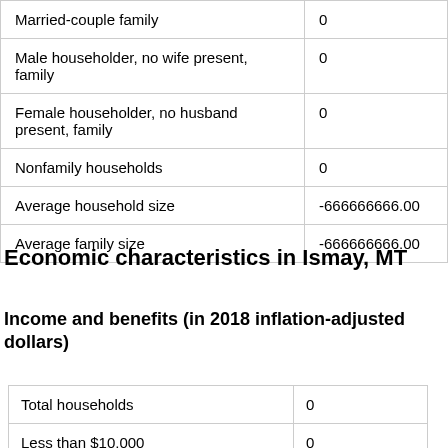|  |  |
| --- | --- |
| Married-couple family | 0 |
| Male householder, no wife present, family | 0 |
| Female householder, no husband present, family | 0 |
| Nonfamily households | 0 |
| Average household size | -666666666.00 |
| Average family size | -666666666.00 |
Economic characteristics in Ismay, MT
Income and benefits (in 2018 inflation-adjusted dollars)
|  |  |
| --- | --- |
| Total households | 0 |
| Less than $10,000 | 0 |